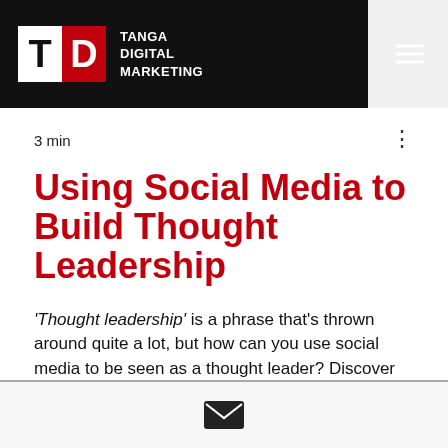TANGA DIGITAL MARKETING
3 min
Using Social Media to Build Thought Leadership
'Thought leadership' is a phrase that's thrown around quite a lot, but how can you use social media to be seen as a thought leader? Discover below.
[Figure (other): Email newsletter signup icon — envelope icon inside a rounded rectangle box at the bottom of the page]